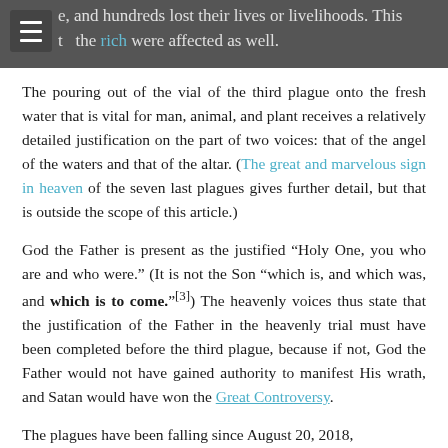e, and hundreds lost their lives or livelihoods. This t the rich were affected as well.
The pouring out of the vial of the third plague onto the fresh water that is vital for man, animal, and plant receives a relatively detailed justification on the part of two voices: that of the angel of the waters and that of the altar. (The great and marvelous sign in heaven of the seven last plagues gives further detail, but that is outside the scope of this article.)
God the Father is present as the justified “Holy One, you who are and who were.” (It is not the Son “which is, and which was, and which is to come.”[3]) The heavenly voices thus state that the justification of the Father in the heavenly trial must have been completed before the third plague, because if not, God the Father would not have gained authority to manifest His wrath, and Satan would have won the Great Controversy.
The plagues have been falling since August 20, 2018,